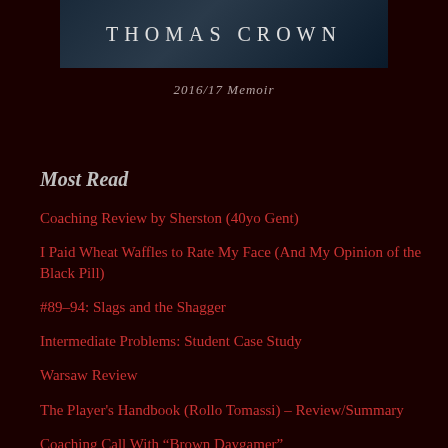[Figure (photo): Dark atmospheric header image with text THOMAS CROWN in spaced capital letters on a dark blue-grey background]
2016/17 Memoir
Most Read
Coaching Review by Sherston (40yo Gent)
I Paid Wheat Waffles to Rate My Face (And My Opinion of the Black Pill)
#89–94: Slags and the Shagger
Intermediate Problems: Student Case Study
Warsaw Review
The Player's Handbook (Rollo Tomassi) – Review/Summary
Coaching Call With “Brown Daygamer”